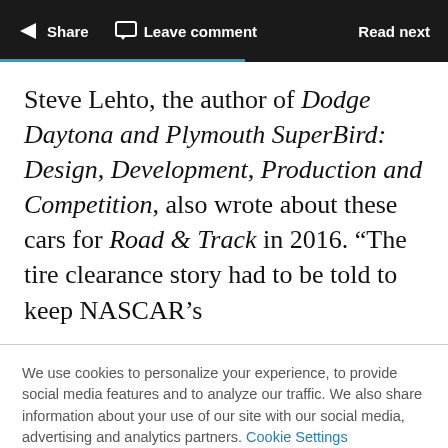Share  Leave comment  Read next
Steve Lehto, the author of Dodge Daytona and Plymouth SuperBird: Design, Development, Production and Competition, also wrote about these cars for Road & Track in 2016. “The tire clearance story had to be told to keep NASCAR’s
We use cookies to personalize your experience, to provide social media features and to analyze our traffic. We also share information about your use of our site with our social media, advertising and analytics partners. Cookie Settings
Accept all cookies